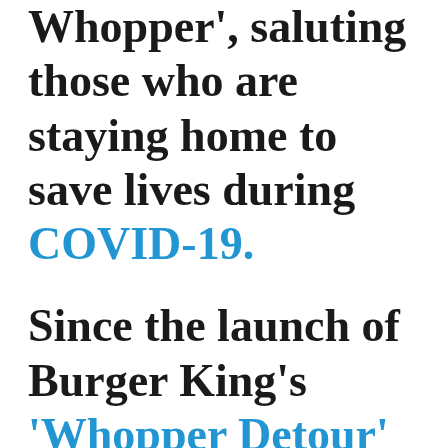Whopper', saluting those who are staying home to save lives during COVID-19. Since the launch of Burger King's 'Whopper Detour' – WARC's World's Most